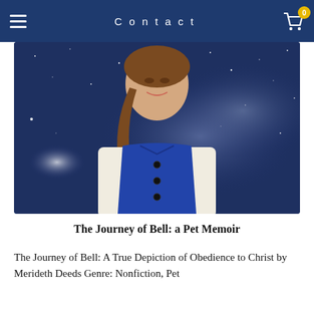Contact
[Figure (photo): Portrait of a woman with a long braid wearing a blue Chinese-style vest over a white long-sleeve shirt, holding a small flower stem, posed against a deep blue starry night sky background.]
The Journey of Bell: a Pet Memoir
The Journey of Bell: A True Depiction of Obedience to Christ by Merideth Deeds Genre: Nonfiction, Pet